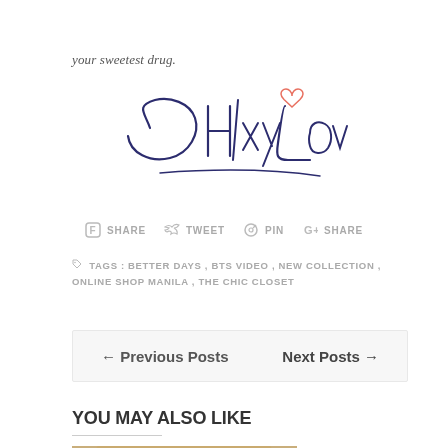your sweetest drug.
[Figure (illustration): Handwritten cursive signature logo reading 'ChlxyLove' with a small coral/pink heart outline above the 'e', written in dark navy blue ink style]
SHARE   TWEET   PIN   SHARE
TAGS : BETTER DAYS , BTS VIDEO , NEW COLLECTION , ONLINE SHOP MANILA , THE CHIC CLOSET
← Previous Posts   Next Posts →
YOU MAY ALSO LIKE
[Figure (photo): Partial photo of a person with blonde hair, showing forehead and eyes area, cropped at bottom]